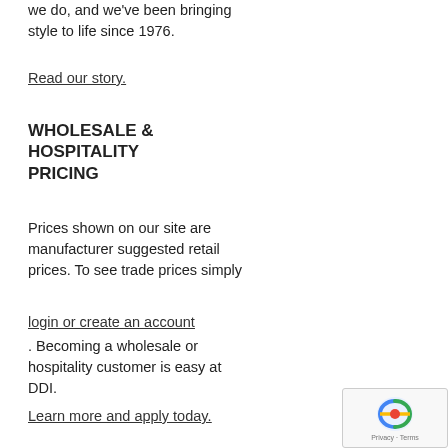we do, and we've been bringing style to life since 1976.
Read our story.
WHOLESALE & HOSPITALITY PRICING
Prices shown on our site are manufacturer suggested retail prices. To see trade prices simply
login or create an account
. Becoming a wholesale or hospitality customer is easy at DDI.
Learn more and apply today.
Ordering Info
Photography
Privacy Policy
Request a Catalog
Returns Policy
Shipping Info
Get Our Newsletter
[Figure (other): reCAPTCHA badge with Privacy and Terms links]